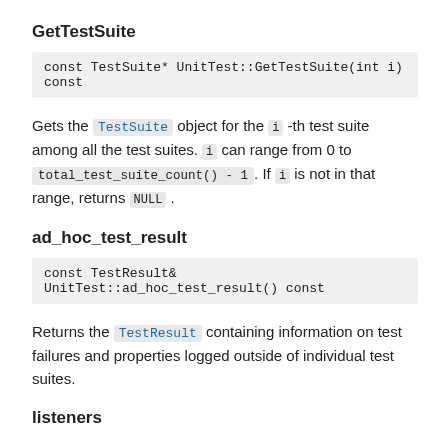GetTestSuite
Gets the TestSuite object for the i -th test suite among all the test suites. i can range from 0 to total_test_suite_count() - 1 . If i is not in that range, returns NULL .
ad_hoc_test_result
Returns the TestResult containing information on test failures and properties logged outside of individual test suites.
listeners